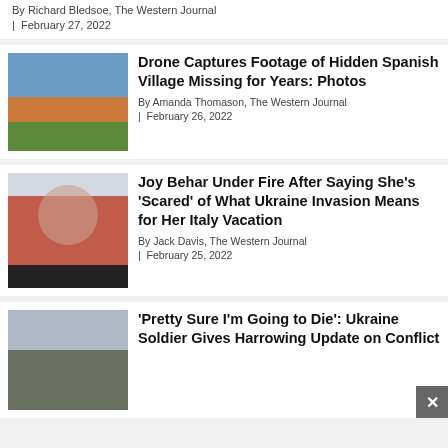By Richard Bledsoe, The Western Journal | February 27, 2022
Drone Captures Footage of Hidden Spanish Village Missing for Years: Photos
By Amanda Thomason, The Western Journal | February 26, 2022
[Figure (photo): Aerial photo of a Spanish village with terracotta rooftops and a lake in background]
Joy Behar Under Fire After Saying She's 'Scared' of What Ukraine Invasion Means for Her Italy Vacation
By Jack Davis, The Western Journal | February 25, 2022
[Figure (photo): Joy Behar in red jacket sitting at The View desk]
'Pretty Sure I'm Going to Die': Ukraine Soldier Gives Harrowing Update on Conflict
[Figure (photo): Soldiers near military vehicle in winter setting]